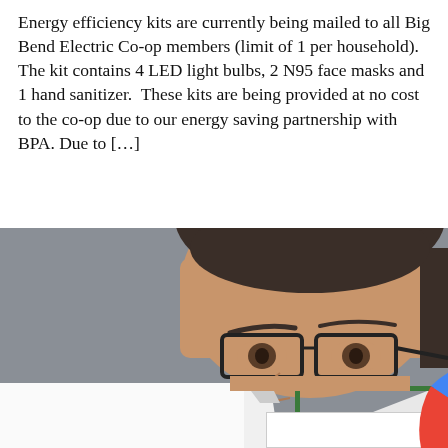Energy efficiency kits are currently being mailed to all Big Bend Electric Co-op members (limit of 1 per household). The kit contains 4 LED light bulbs, 2 N95 face masks and 1 hand sanitizer.  These kits are being provided at no cost to the co-op due to our energy saving partnership with BPA. Due to […]
[Figure (photo): A man wearing glasses looking down at an open book with a green border, photographed against a grey background. Only the top of his head and eyes above the glasses are visible above the book.]